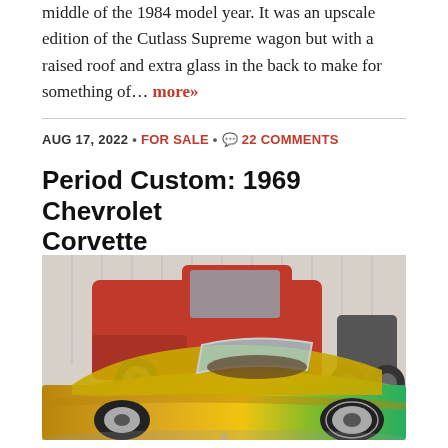middle of the 1984 model year. It was an upscale edition of the Cutlass Supreme wagon but with a raised roof and extra glass in the back to make for something of… more»
AUG 17, 2022 • FOR SALE • 💬 22 COMMENTS
Period Custom: 1969 Chevrolet Corvette
[Figure (photo): A 1969 Chevrolet Corvette with a custom paint job featuring yellow, green and gradient colors, parked inside a garage next to a red vintage pickup truck and a motorcycle in the background.]